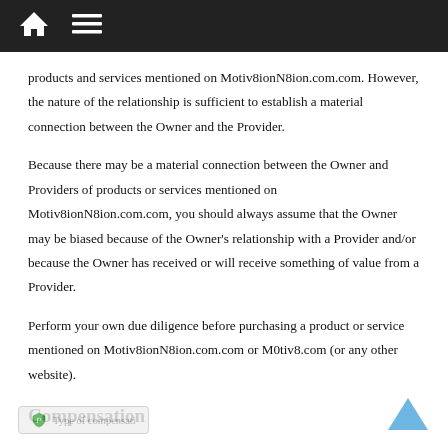Navigation bar with home and menu icons
products and services mentioned on Motiv8ionN8ion.com.com. However, the nature of the relationship is sufficient to establish a material connection between the Owner and the Provider.
Because there may be a material connection between the Owner and Providers of products or services mentioned on Motiv8ionN8ion.com.com, you should always assume that the Owner may be biased because of the Owner's relationship with a Provider and/or because the Owner has received or will receive something of value from a Provider.
Perform your own due diligence before purchasing a product or service mentioned on Motiv8ionN8ion.com.com or M0tiv8.com (or any other website).
Compensation
The type of compensation received by the Owner may vary. In some instances, the Owner may receive complimentary products, services, or money from a